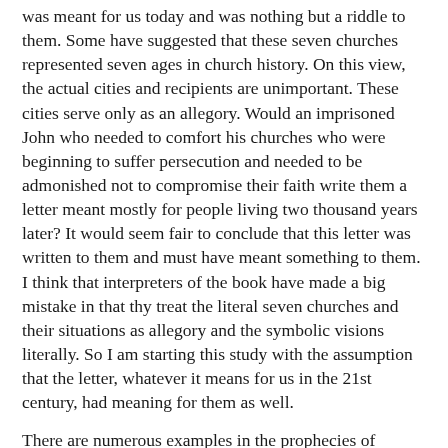was meant for us today and was nothing but a riddle to them. Some have suggested that these seven churches represented seven ages in church history. On this view, the actual cities and recipients are unimportant. These cities serve only as an allegory. Would an imprisoned John who needed to comfort his churches who were beginning to suffer persecution and needed to be admonished not to compromise their faith write them a letter meant mostly for people living two thousand years later? It would seem fair to conclude that this letter was written to them and must have meant something to them. I think that interpreters of the book have made a big mistake in that thy treat the literal seven churches and their situations as allegory and the symbolic visions literally. So I am starting this study with the assumption that the letter, whatever it means for us in the 21st century, had meaning for them as well.
There are numerous examples in the prophecies of Scripture the idea of double fulfillment. One of the fulfillments would have its fulfillment in the near future which served as a type of a second bigger fulfillment in the future. Isaiah 7:14 serves as an example. We all know that Matthew records that this was a type fulfilled by...